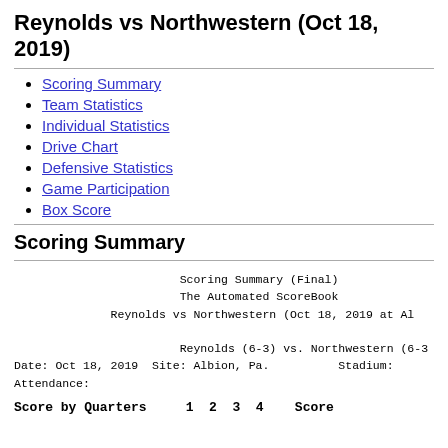Reynolds vs Northwestern (Oct 18, 2019)
Scoring Summary
Team Statistics
Individual Statistics
Drive Chart
Defensive Statistics
Game Participation
Box Score
Scoring Summary
Scoring Summary (Final)
The Automated ScoreBook
Reynolds vs Northwestern (Oct 18, 2019 at Al

                Reynolds (6-3) vs. Northwestern (6-
Date: Oct 18, 2019  Site: Albion, Pa.          Stadium:
Attendance:
Score by Quarters    1  2  3  4    Score